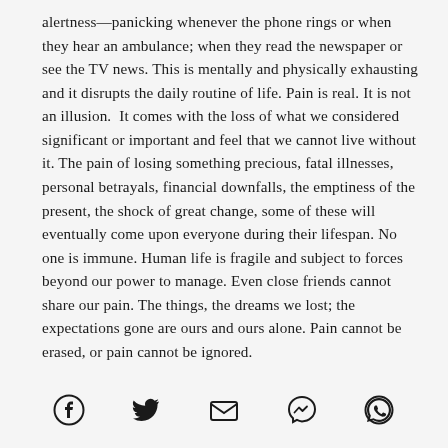alertness—panicking whenever the phone rings or when they hear an ambulance; when they read the newspaper or see the TV news. This is mentally and physically exhausting and it disrupts the daily routine of life. Pain is real. It is not an illusion.  It comes with the loss of what we considered significant or important and feel that we cannot live without it. The pain of losing something precious, fatal illnesses, personal betrayals, financial downfalls, the emptiness of the present, the shock of great change, some of these will eventually come upon everyone during their lifespan. No one is immune. Human life is fragile and subject to forces beyond our power to manage. Even close friends cannot share our pain. The things, the dreams we lost; the expectations gone are ours and ours alone. Pain cannot be erased, or pain cannot be ignored.
[Figure (other): Social sharing icons row: Facebook, Twitter, Email (envelope), Messenger, WhatsApp]